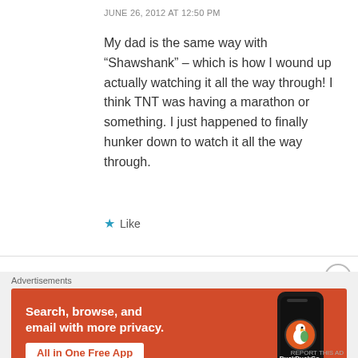JUNE 26, 2012 AT 12:50 PM
My dad is the same way with “Shawshank” – which is how I wound up actually watching it all the way through! I think TNT was having a marathon or something. I just happened to finally hunker down to watch it all the way through.
★ Like
[Figure (infographic): DuckDuckGo advertisement banner: orange background with white text 'Search, browse, and email with more privacy.' and 'All in One Free App' button, with a phone showing DuckDuckGo logo on the right side.]